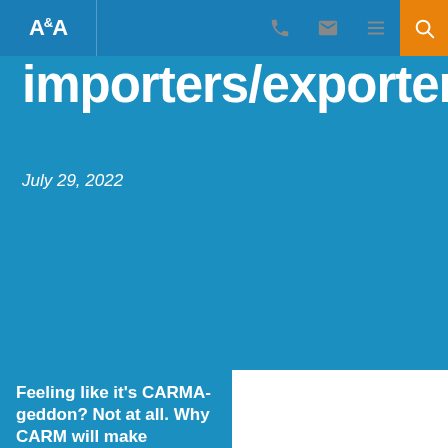A&A [logo] | nav icons
importers/exporters
July 29, 2022
Feeling like it's CARMA-geddon? Not at all. Why CARM will make Canadian commercial importing